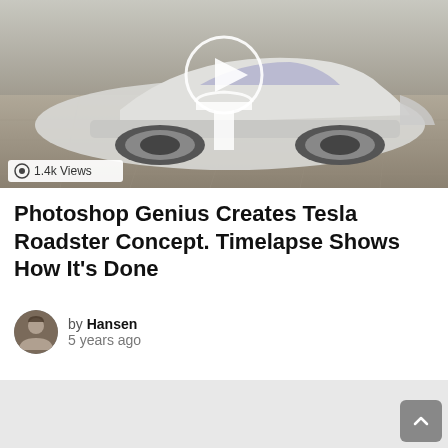[Figure (photo): Tesla Roadster concept car photo with video play button overlay, Tesla logo, and 1.4k Views badge]
Photoshop Genius Creates Tesla Roadster Concept. Timelapse Shows How It’s Done
by Hansen
5 years ago
[Figure (other): Gray placeholder content area with scroll-to-top button]